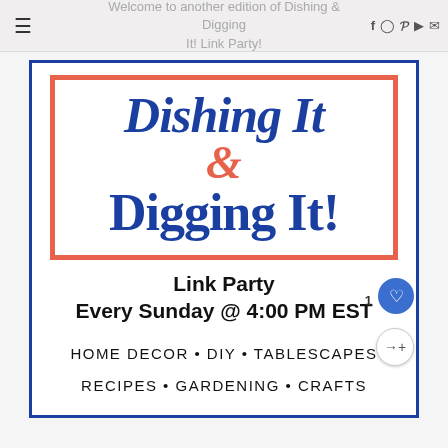Welcome to another edition of Dishing & Digging It! Link Party!
[Figure (logo): Dishing It & Digging It! logo in a coral/red border box with blue script and serif text]
Link Party
Every Sunday @ 4:00 PM EST
HOME DECOR • DIY • TABLESCAPES
RECIPES • GARDENING • CRAFTS